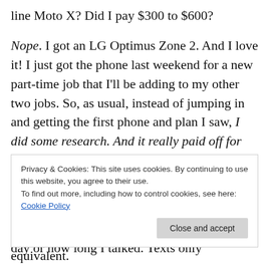line Moto X? Did I pay $300 to $600?
Nope. I got an LG Optimus Zone 2. And I love it! I just got the phone last weekend for a new part-time job that I'll be adding to my other two jobs. So, as usual, instead of jumping in and getting the first phone and plan I saw, I did some research. And it really paid off for me!
First, the plan. I was on a “Paygo” plan, where I would pay just $1.99 on any day I used my phone, no matter how many calls I made that day or how long I talked. Texts only cost about 2 cents. No data included. It was a great plan
Privacy & Cookies: This site uses cookies. By continuing to use this website, you agree to their use.
To find out more, including how to control cookies, see here: Cookie Policy
every day and pay $62 for a monthly period equivalent.